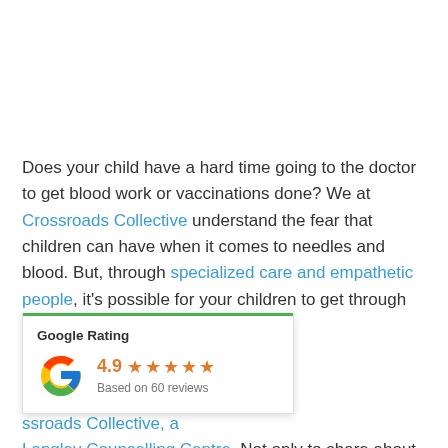Does your child have a hard time going to the doctor to get blood work or vaccinations done? We at Crossroads Collective understand the fear that children can have when it comes to needles and blood. But, through specialized care and empathetic people, it's possible for your children to get through these appointments.
[Figure (infographic): Google Rating card showing 4.9 stars based on 60 reviews, with Google G logo and green top border]
e of our clients, Colby. ited to share his ssroads Collective, a Langley Counselling Centre. Not only to share about